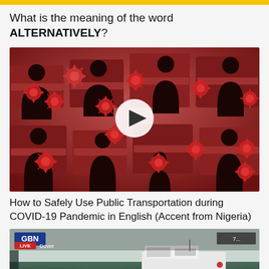What is the meaning of the word ALTERNATIVELY?
[Figure (screenshot): Video thumbnail showing illustration of people seated in public transport with coronavirus icons floating around them, and a play button in the center. Red and dark tones.]
How to Safely Use Public Transportation during COVID-19 Pandemic in English (Accent from Nigeria)
[Figure (screenshot): Video thumbnail showing a news broadcast from GBN with 'LIVE' chyron and 'Dover' label, showing a boat on water.]